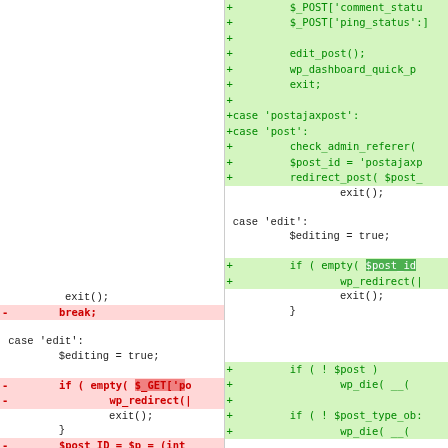[Figure (screenshot): Side-by-side diff view of PHP code showing deleted lines on the left (red) and added lines on the right (green). Left panel shows exit(), break; and case 'edit': block with $editing, $_GET, wp_redirect, $post_ID, $post, if empty checks. Right panel shows added lines with $_POST['comment_status'], $_POST['ping_status'], edit_post(), wp_dashboard_quick_p, exit, case 'postajaxpost', case 'post', check_admin_referer, $post_id, redirect_post, exit(), case 'edit':, $editing, $post_id, wp_redirect, exit, }, if ! $post, wp_die, if ! $post_type_ob, wp_die, if 'current_user.]